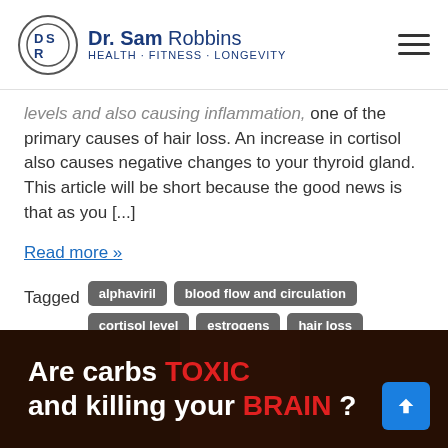Dr. Sam Robbins — Health · Fitness · Longevity
levels and also causing inflammation, one of the primary causes of hair loss. An increase in cortisol also causes negative changes to your thyroid gland. This article will be short because the good news is that as you [...]
Read more »
Tagged alphaviril blood flow and circulation cortisol level estrogens hair loss Hormones men's health men's health yt reduce stress thyroid
[Figure (photo): Dark background banner image with text: Are carbs TOXIC and killing your BRAIN?]